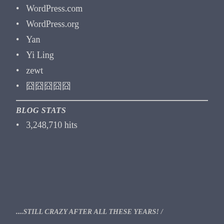WordPress.com
WordPress.org
Yan
Yi Ling
zewt
囧囧囧囧囧
BLOG STATS
3,248,710 hits
....STILL CRAZY AFTER ALL THESE YEARS! /